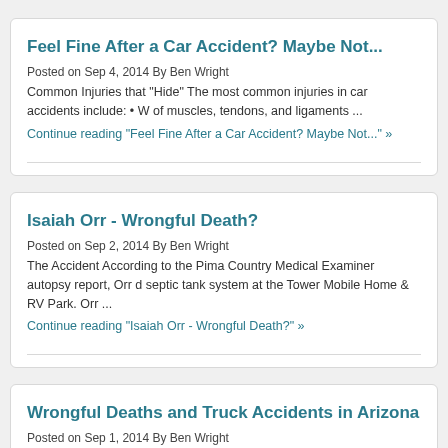Feel Fine After a Car Accident? Maybe Not...
Posted on Sep 4, 2014 By Ben Wright
Common Injuries that "Hide" The most common injuries in car accidents include: • W of muscles, tendons, and ligaments ...
Continue reading "Feel Fine After a Car Accident? Maybe Not..." »
Isaiah Orr - Wrongful Death?
Posted on Sep 2, 2014 By Ben Wright
The Accident According to the Pima Country Medical Examiner autopsy report, Orr d septic tank system at the Tower Mobile Home & RV Park. Orr ...
Continue reading "Isaiah Orr - Wrongful Death?" »
Wrongful Deaths and Truck Accidents in Arizona
Posted on Sep 1, 2014 By Ben Wright
Truck accidents often caused by negligence Despite the fact that trucks can weigh u